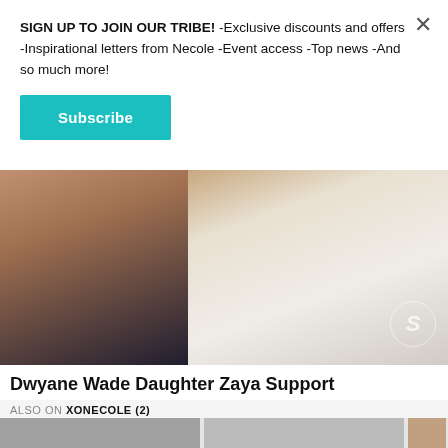SIGN UP TO JOIN OUR TRIBE! -Exclusive discounts and offers -Inspirational letters from Necole -Event access -Top news -And so much more!
Subscribe
[Figure (photo): Two people at an event: a woman on the left in a blue floral/lace dress and a person on the right in a white blazer, with a circular logo visible in the background.]
Dwyane Wade Daughter Zaya Support
ALSO ON XONECOLE (2)
[Figure (photo): Ad banner for European Wax Center featuring the word 'smooth' with text 'Experience a new state of smooth' and 'First wax free, Book Now']